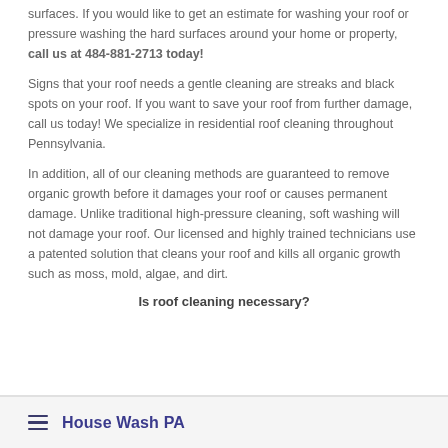surfaces. If you would like to get an estimate for washing your roof or pressure washing the hard surfaces around your home or property, call us at 484-881-2713 today!
Signs that your roof needs a gentle cleaning are streaks and black spots on your roof. If you want to save your roof from further damage, call us today! We specialize in residential roof cleaning throughout Pennsylvania.
In addition, all of our cleaning methods are guaranteed to remove organic growth before it damages your roof or causes permanent damage. Unlike traditional high-pressure cleaning, soft washing will not damage your roof. Our licensed and highly trained technicians use a patented solution that cleans your roof and kills all organic growth such as moss, mold, algae, and dirt.
Is roof cleaning necessary?
House Wash PA